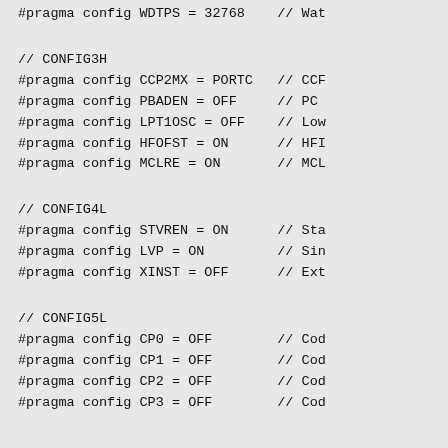#pragma config WDTPS = 32768    // Wat
// CONFIG3H
#pragma config CCP2MX = PORTC   // CCF
#pragma config PBADEN = OFF     // PC
#pragma config LPT1OSC = OFF    // Low
#pragma config HFOFST = ON      // HFI
#pragma config MCLRE = ON       // MCL
// CONFIG4L
#pragma config STVREN = ON      // Sta
#pragma config LVP = ON         // Sin
#pragma config XINST = OFF      // Ext
// CONFIG5L
#pragma config CP0 = OFF        // Cod
#pragma config CP1 = OFF        // Cod
#pragma config CP2 = OFF        // Cod
#pragma config CP3 = OFF        // Cod